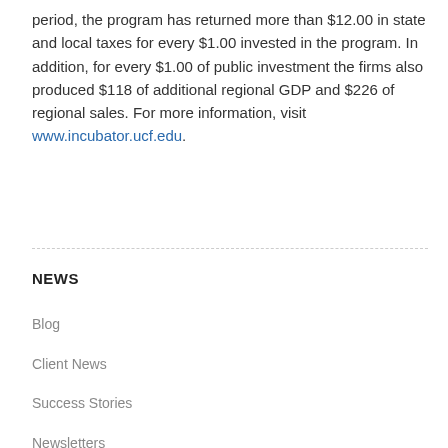period, the program has returned more than $12.00 in state and local taxes for every $1.00 invested in the program. In addition, for every $1.00 of public investment the firms also produced $118 of additional regional GDP and $226 of regional sales. For more information, visit www.incubator.ucf.edu.
NEWS
Blog
Client News
Success Stories
Newsletters
Videos